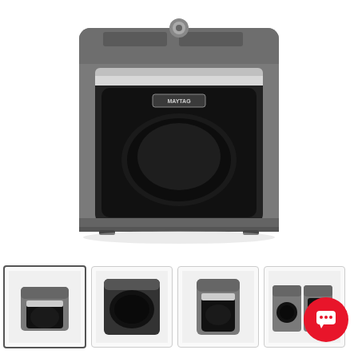[Figure (photo): Main product image of a Maytag dryer in metallic slate/gray color, front-facing view showing the top control panel and large front door with black interior window and Maytag logo badge]
[Figure (photo): Thumbnail 1 (selected): Top-down angled view of Maytag dryer in slate gray showing control panel]
[Figure (photo): Thumbnail 2: Front close-up view of dryer door in dark/black angle]
[Figure (photo): Thumbnail 3: Front-facing view of Maytag dryer showing door and controls]
[Figure (photo): Thumbnail 4 (partially obscured by chat button): Side-by-side washer and dryer pair in slate gray]